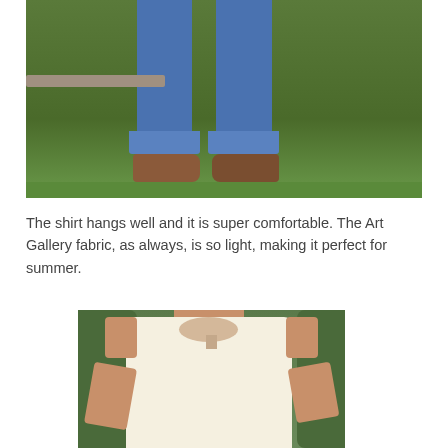[Figure (photo): Close-up photo of a person's lower body wearing blue denim jeans with cuffed hems and brown sandals/shoes, standing on green grass with garden border visible.]
The shirt hangs well and it is super comfortable. The Art Gallery fabric, as always, is so light, making it perfect for summer.
[Figure (photo): Photo of a woman wearing a white/cream sleeveless shirt with a V-neckline notch, shown from the torso up, standing in front of green foliage.]